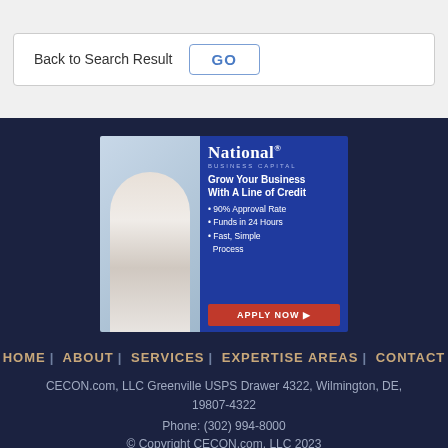Back to Search Result  GO
[Figure (illustration): National Business Capital advertisement banner. Shows a businesswoman in a white blazer on the left, and on a blue background on the right: 'National Business Capital' logo, 'Grow Your Business With A Line of Credit', bullet points: '90% Approval Rate', 'Funds in 24 Hours', 'Fast, Simple Process', and a red 'APPLY NOW' button.]
HOME | ABOUT | SERVICES | EXPERTISE AREAS | CONTACT
CECON.com, LLC Greenville USPS Drawer 4322, Wilmington, DE, 19807-4322
Phone: (302) 994-8000
© Copyright CECON.com, LLC 2023